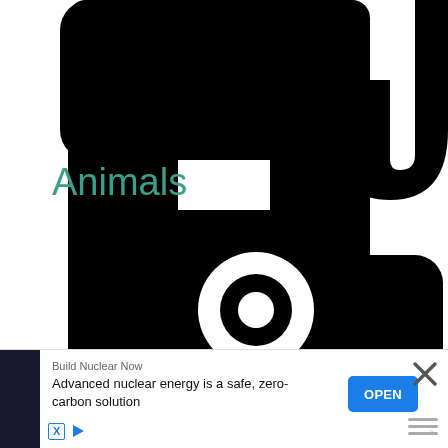[Figure (illustration): Black silhouette icons on white background: top half shows a large elephant icon (partially cropped, showing legs/body/trunk) with text 'Animals' below it in teal, and bottom half shows a large black camera icon silhouette (partially cropped)]
Animals
Build Nuclear Now
Advanced nuclear energy is a safe, zero-carbon solution